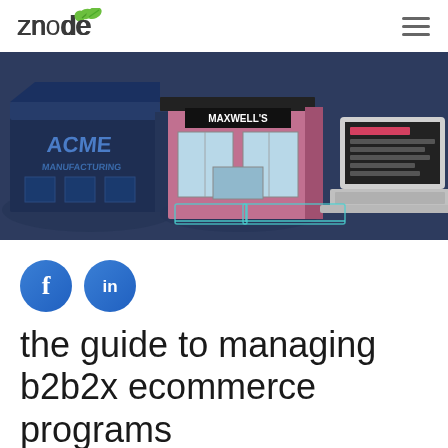znode
[Figure (illustration): Isometric illustration showing three business storefronts: ACME Manufacturing (blue industrial building), Maxwell's (pink retail store), and a laptop computer, arranged on a dark blue background suggesting a B2B2X ecommerce network.]
[Figure (illustration): Social media share buttons: Facebook (f) and LinkedIn (in) as blue circles]
the guide to managing b2b2x ecommerce programs